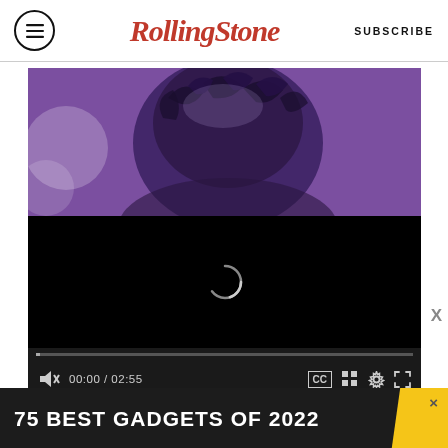Rolling Stone | SUBSCRIBE
[Figure (screenshot): Video player showing a purple-tinted photo of a person with curly hair performing on stage, with a black loading screen area below showing a spinning loading indicator. Video controls show 00:00 / 02:55 with mute, CC, grid, settings, and fullscreen buttons. A progress bar is visible above the controls.]
[Figure (screenshot): Bottom advertisement banner in dark background showing text '75 BEST GADGETS OF 2022' with a yellow diagonal accent on the right side and a close (x) button.]